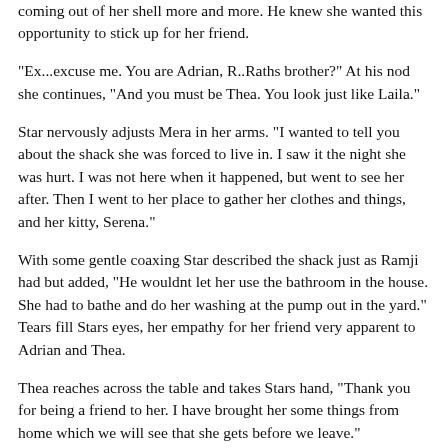coming out of her shell more and more. He knew she wanted this opportunity to stick up for her friend.
“Ex...excuse me. You are Adrian, R..Raths brother?” At his nod she continues, “And you must be Thea. You look just like Laila.”
Star nervously adjusts Mera in her arms. “I wanted to tell you about the shack she was forced to live in. I saw it the night she was hurt. I was not here when it happened, but went to see her after. Then I went to her place to gather her clothes and things, and her kitty, Serena.”
With some gentle coaxing Star described the shack just as Ramji had but added, “He wouldnt let her use the bathroom in the house. She had to bathe and do her washing at the pump out in the yard.” Tears fill Stars eyes, her empathy for her friend very apparent to Adrian and Thea.
Thea reaches across the table and takes Stars hand, “Thank you for being a friend to her. I have brought her some things from home which we will see that she gets before we leave.”